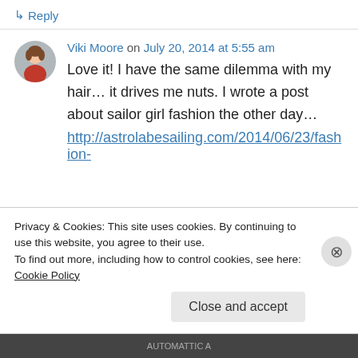↳ Reply
Viki Moore on July 20, 2014 at 5:55 am
Love it! I have the same dilemma with my hair… it drives me nuts. I wrote a post about sailor girl fashion the other day…
http://astrolabesailing.com/2014/06/23/fashion-
Privacy & Cookies: This site uses cookies. By continuing to use this website, you agree to their use.
To find out more, including how to control cookies, see here: Cookie Policy
Close and accept